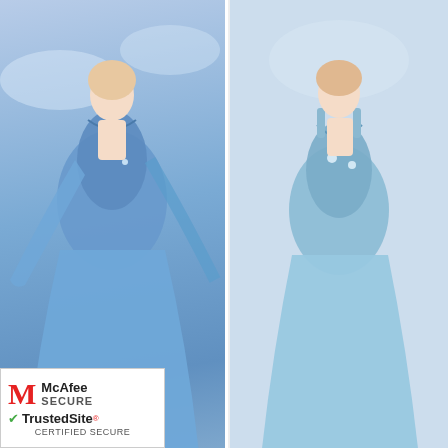[Figure (photo): Blue elegant prom dress with long sleeves and floral applique, displayed on model against light background]
ELEGANT
$128.99
[Figure (photo): Light blue best seller prom dress with V-neck and floral applique, displayed on model against light background]
BEST SELLER
$128.99
[Figure (photo): Green ruffled tulle prom dress on mannequin in store]
[Figure (photo): Black ruffled prom dress on model]
Lelia * in li bought
Stunning Ruffled Tulle Green Corset Prom Dress w
$148.99
About 9 hours ago
[Figure (logo): McAfee Secure TrustedSite Certified Secure badge]